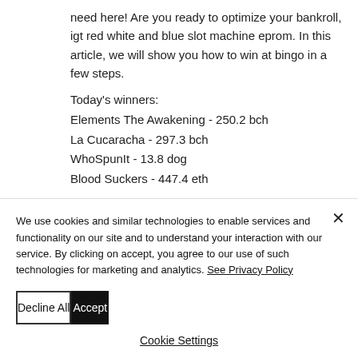need here! Are you ready to optimize your bankroll, igt red white and blue slot machine eprom. In this article, we will show you how to win at bingo in a few steps.
Today's winners:
Elements The Awakening - 250.2 bch
La Cucaracha - 297.3 bch
WhoSpunIt - 13.8 dog
Blood Suckers - 447.4 eth
We use cookies and similar technologies to enable services and functionality on our site and to understand your interaction with our service. By clicking on accept, you agree to our use of such technologies for marketing and analytics. See Privacy Policy
Decline All
Accept
Cookie Settings